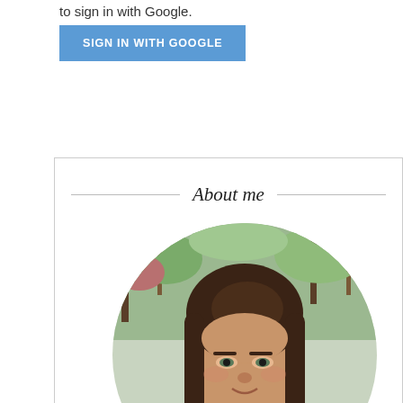to sign in with Google.
SIGN IN WITH GOOGLE
About me
[Figure (photo): Circular cropped photo of a woman with dark brown hair outdoors with trees in the background. She is looking slightly upward at the camera.]